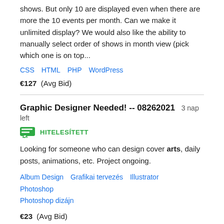shows. But only 10 are displayed even when there are more the 10 events per month. Can we make it unlimited display? We would also like the ability to manually select order of shows in month view (pick which one is on top...
CSS   HTML   PHP   WordPress
€127  (Avg Bid)
Graphic Designer Needed! -- 08262021   3 nap left
HITELESÍTETT
Looking for someone who can design cover arts, daily posts, animations, etc. Project ongoing.
Album Design   Grafikai tervezés   Illustrator   Photoshop   Photoshop dizájn
€23  (Avg Bid)
Banners: female activewear (Figma + a little